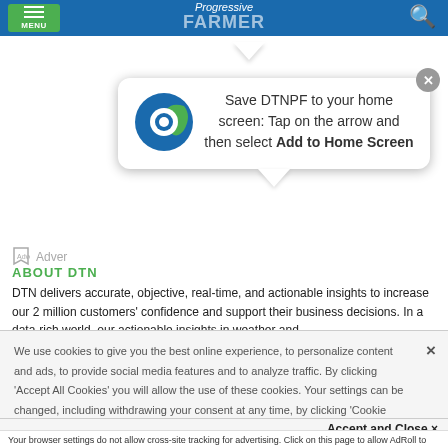[Figure (screenshot): Mobile website screenshot of Progressive Farmer (DTNPF) with navigation bar, popup tooltip to save to home screen, about section, cookie consent banner, and AdRoll tracking notice]
Save DTNPF to your home screen: Tap on the arrow and then select Add to Home Screen
ABOUT DTN
DTN delivers accurate, objective, real-time, and actionable insights to increase our 2 million customers' confidence and support their business decisions. In a data-rich world, our actionable insights in weather and
We use cookies to give you the best online experience, to personalize content and ads, to provide social media features and to analyze traffic. By clicking 'Accept All Cookies' you will allow the use of these cookies. Your settings can be changed, including withdrawing your consent at any time, by clicking 'Cookie Settings'. Find out more on how we and third parties use cookies in our Cookie Policy
Accept and Close ✕
Your browser settings do not allow cross-site tracking for advertising. Click on this page to allow AdRoll to use cross-site tracking to tailor ads to you. Learn more or opt out of this AdRoll tracking by clicking here. This message only appears once.